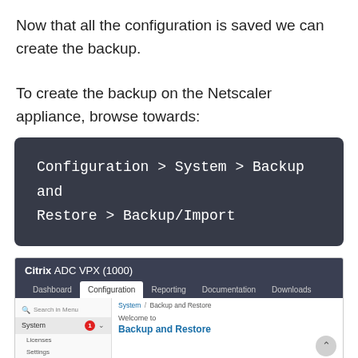Now that all the configuration is saved we can create the backup.
To create the backup on the Netscaler appliance, browse towards:
[Figure (screenshot): Citrix ADC VPX (1000) web interface showing Configuration tab selected, System menu expanded with badge '1', breadcrumb showing System / Backup and Restore, and 'Welcome to Backup and Restore' heading.]